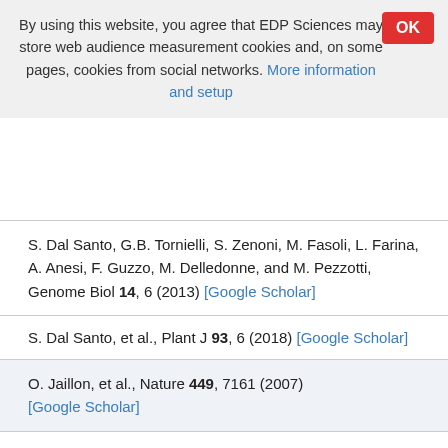By using this website, you agree that EDP Sciences may store web audience measurement cookies and, on some pages, cookies from social networks. More information and setup
S. Dal Santo, G.B. Tornielli, S. Zenoni, M. Fasoli, L. Farina, A. Anesi, F. Guzzo, M. Delledonne, and M. Pezzotti, Genome Biol 14, 6 (2013) [Google Scholar]
S. Dal Santo, et al., Plant J 93, 6 (2018) [Google Scholar]
O. Jaillon, et al., Nature 449, 7161 (2007) [Google Scholar]
D. Kim, G. Pertea, C. Trapnell, H. Pimentel, R. Kelley, and S.L. Salzberg, Genome Biol 14, 4 (2013) [Google Scholar]
A. Roberts, H. Pimentel, C. Trapnell, and L. Pachter,